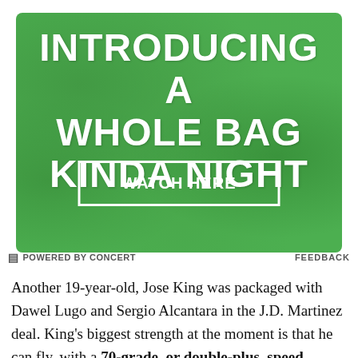[Figure (infographic): Green textured advertisement banner with white bold text reading 'INTRODUCING A WHOLE BAG KINDA NIGHT' and a white-bordered button 'WATCH HERE']
POWERED BY CONCERT   FEEDBACK
Another 19-year-old, Jose King was packaged with Dawel Lugo and Sergio Alcantara in the J.D. Martinez deal. King's biggest strength at the moment is that he can fly, with a 70-grade, or double-plus, speed rating mutually shared by Mark Anderson of Baseball